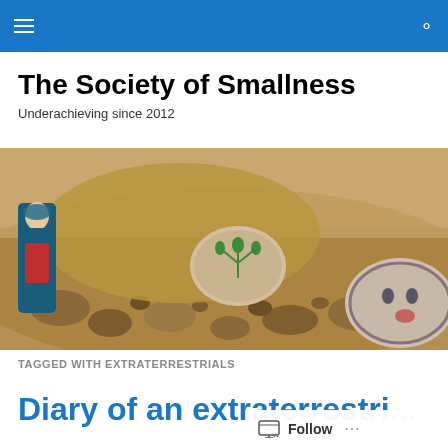The Society of Smallness – navigation bar
The Society of Smallness
Underachieving since 2012
[Figure (photo): Painted rocks among gravel and dirt: a Virgin Mary figurine on the left, a rock with a green plant painted on it in the center, and a rock with a face and red handprint painted on it on the right.]
TAGGED WITH EXTRATERRESTRIALS
Diary of an extraterrestrial...